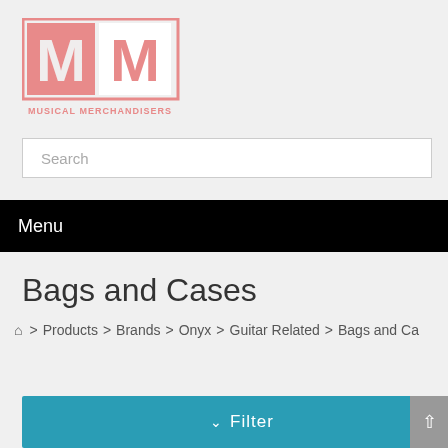[Figure (logo): Musical Merchandisers logo with two M letters in pink/salmon color inside a square outline, with 'MUSICAL MERCHANDISERS' text below]
Search
Menu
Bags and Cases
⌂ > Products > Brands > Onyx > Guitar Related > Bags and Ca
Filter